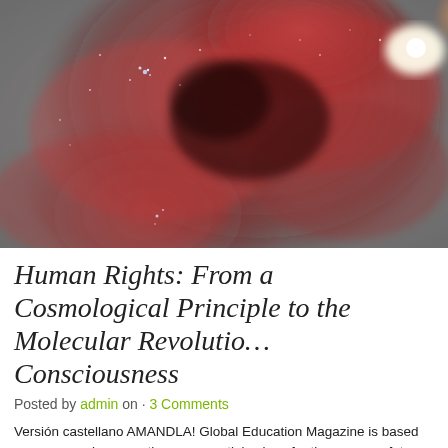[Figure (photo): A dramatic astronomical image showing a reddish-pink nebula with glowing gas clouds and stars against a dark grey sky background, with a bright light source in the upper right area.]
Human Rights: From a Cosmological Principle to the Molecular Revolution of Consciousness
Posted by admin on · 3 Comments
Versión castellano AMANDLA! Global Education Magazine is based on a new and cooperation as essential values for the common future of humanity. A hum